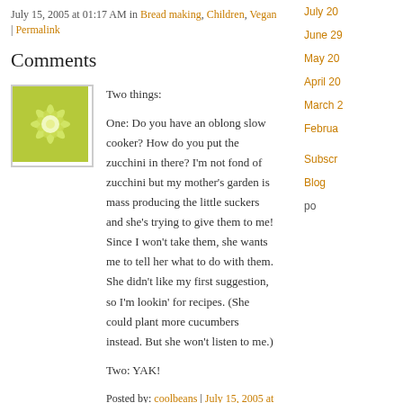July 15, 2005 at 01:17 AM in Bread making, Children, Vegan | Permalink
Comments
[Figure (illustration): Green and white decorative flower/snowflake avatar icon with square border]
Two things:

One: Do you have an oblong slow cooker? How do you put the zucchini in there? I'm not fond of zucchini but my mother's garden is mass producing the little suckers and she's trying to give them to me! Since I won't take them, she wants me to tell her what to do with them. She didn't like my first suggestion, so I'm lookin' for recipes. (She could plant more cucumbers instead. But she won't listen to me.)

Two: YAK!
Posted by: coolbeans | July 15, 2005 at 10:38 AM
[Figure (illustration): Blue and white wavy lines avatar icon with square border]
July 20
June 29
May 20
April 20
March 2
Februa
Subscr
Blog po